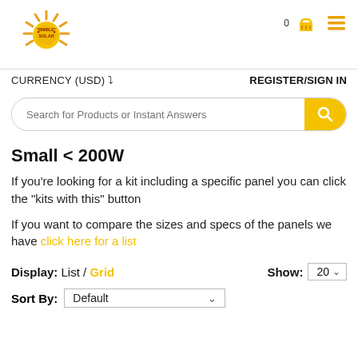[Figure (logo): Bimble Solar logo: yellow sunburst with 'BIMBLE SOLAR' text]
CURRENCY (USD) ˅
REGISTER/SIGN IN
Search for Products or Instant Answers
Small < 200W
If you're looking for a kit including a specific panel you can click the "kits with this" button
If you want to compare the sizes and specs of the panels we have click here for a list
Display: List / Grid     Show: 20 ˅
Sort By: Default ˅